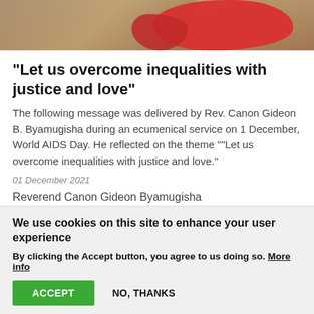[Figure (photo): Top portion of a photo showing a red cloth/garment on a wooden floor]
“Let us overcome inequalities with justice and love”
The following message was delivered by Rev. Canon Gideon B. Byamugisha during an ecumenical service on 1 December, World AIDS Day. He reflected on the theme ““Let us overcome inequalities with justice and love.”
01 December 2021
Reverend Canon Gideon Byamugisha
We use cookies on this site to enhance your user experience
By clicking the Accept button, you agree to us doing so. More info
ACCEPT   NO, THANKS